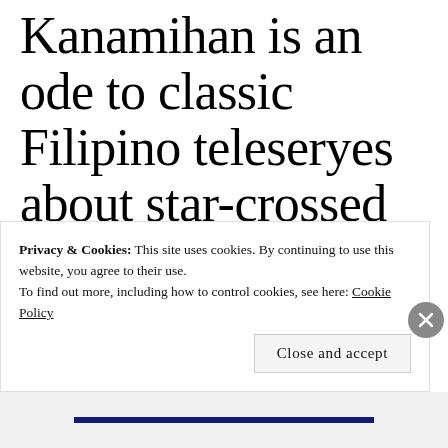Kanamihan is an ode to classic Filipino teleseryes about star-crossed lovers, who must fight the odds to be together. It stars Joshua as Inno, an heir of
Privacy & Cookies: This site uses cookies. By continuing to use this website, you agree to their use. To find out more, including how to control cookies, see here: Cookie Policy
Close and accept